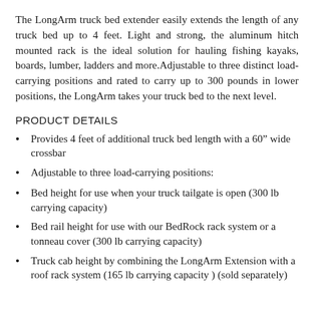The LongArm truck bed extender easily extends the length of any truck bed up to 4 feet. Light and strong, the aluminum hitch mounted rack is the ideal solution for hauling fishing kayaks, boards, lumber, ladders and more.Adjustable to three distinct load-carrying positions and rated to carry up to 300 pounds in lower positions, the LongArm takes your truck bed to the next level.
PRODUCT DETAILS
Provides 4 feet of additional truck bed length with a 60” wide crossbar
Adjustable to three load-carrying positions:
Bed height for use when your truck tailgate is open (300 lb carrying capacity)
Bed rail height for use with our BedRock rack system or a tonneau cover (300 lb carrying capacity)
Truck cab height by combining the LongArm Extension with a roof rack system (165 lb carrying capacity ) (sold separately)